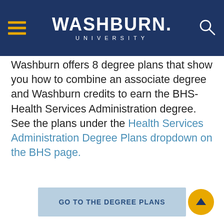Washburn University
Washburn offers 8 degree plans that show you how to combine an associate degree and Washburn credits to earn the BHS-Health Services Administration degree. See the plans under the Health Services Administration Degree Plans dropdown on the BHS page.
GO TO THE DEGREE PLANS
[Figure (photo): Graduation mortarboard cap with tassel, blurred green background]